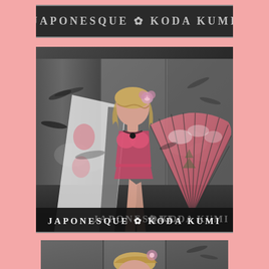[Figure (photo): Cropped top banner showing 'JAPONESQUE KODA KUMI' logo text in metallic/embossed style on a dark background]
[Figure (photo): Main promotional photo of Koda Kumi wearing pink lingerie and an open kimono with Japanese crane/bird motifs, holding a large pink Japanese fan, posed against a traditional Japanese screen background. Text at bottom reads 'JAPONESQUE KODA KUMI' in bold stylized white letters.]
[Figure (photo): Partial bottom crop showing Koda Kumi's upper body and head from the same or similar photoshoot, black and white tones with traditional Japanese screen backdrop]